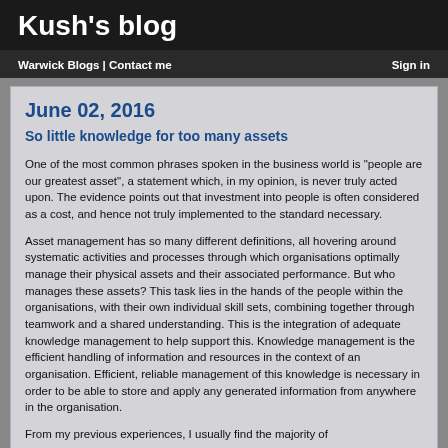Kush's blog
Warwick Blogs | Contact me    Sign in
June 02, 2016
So little knowledge for too many assets
One of the most common phrases spoken in the business world is "people are our greatest asset", a statement which, in my opinion, is never truly acted upon. The evidence points out that investment into people is often considered as a cost, and hence not truly implemented to the standard necessary.
Asset management has so many different definitions, all hovering around systematic activities and processes through which organisations optimally manage their physical assets and their associated performance. But who manages these assets? This task lies in the hands of the people within the organisations, with their own individual skill sets, combining together through teamwork and a shared understanding. This is the integration of adequate knowledge management to help support this. Knowledge management is the efficient handling of information and resources in the context of an organisation. Efficient, reliable management of this knowledge is necessary in order to be able to store and apply any generated information from anywhere in the organisation.
From my previous experiences, I usually find the majority of